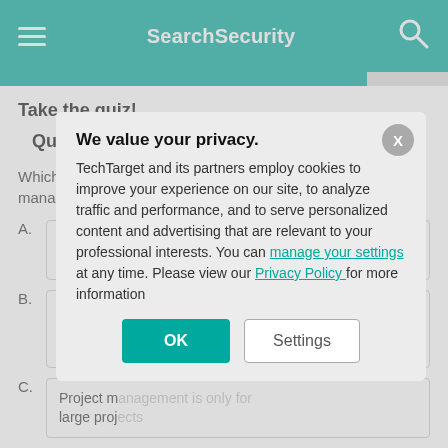SearchSecurity
Take the quiz!
Question 1 of 6
Which of the fo... management is...
A. Project m... small pro...
B. Project m... projects, w... important...
C. Project m... large proj...
[Figure (screenshot): Privacy consent modal overlay with title 'We value your privacy.' and buttons OK and Settings]